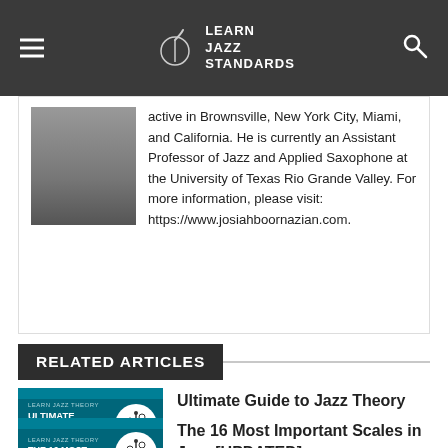Learn Jazz Standards
active in Brownsville, New York City, Miami, and California. He is currently an Assistant Professor of Jazz and Applied Saxophone at the University of Texas Rio Grande Valley. For more information, please visit: https://www.josiahboornazian.com.
RELATED ARTICLES
[Figure (photo): Thumbnail image for 'Ultimate Guide to Jazz Theory' article on Learn Jazz Standards blog]
Ultimate Guide to Jazz Theory
[Figure (photo): Thumbnail image for 'The 16 Most Important Scales in Jazz' article on Learn Jazz Standards blog]
The 16 Most Important Scales in Jazz [UPDATED]